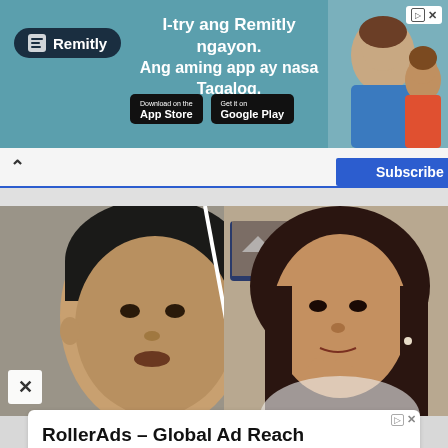[Figure (photo): Remitly advertisement banner with teal background. Shows Remitly logo, text 'I-try ang Remitly ngayon. Ang aming app ay nasa Tagalog.' with App Store and Google Play download buttons. Photo of two people smiling on the right side.]
Subscribe
[Figure (photo): Split composite photo showing two Filipino political figures: a middle-aged man (left side) and a woman with hand on chin in a thoughtful pose (right side)]
RollerAds – Global Ad Reach
Enjoy Popunder Ad Traffic With In-House Anti-Fraud System. Easy Account Top-Up.
RollerAds
Learn More